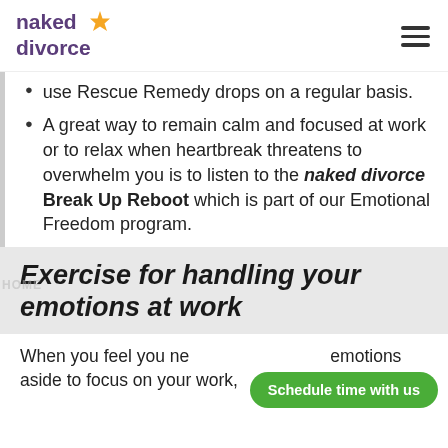naked divorce
use Rescue Remedy drops on a regular basis.
A great way to remain calm and focused at work or to relax when heartbreak threatens to overwhelm you is to listen to the naked divorce Break Up Reboot which is part of our Emotional Freedom program.
Exercise for handling your emotions at work
When you feel you need to put your emotions aside to focus on your work,